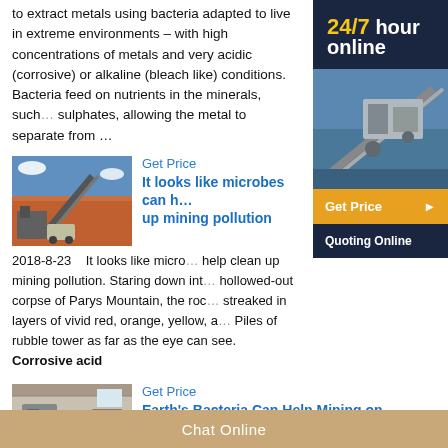to extract metals using bacteria adapted to live in extreme environments – with high concentrations of metals and very acidic (corrosive) or alkaline (bleach like) conditions. Bacteria feed on nutrients in the minerals, such as sulphates, allowing the metal to separate from …
[Figure (photo): Mining equipment and conveyor belts at an open-pit mine site with red earth]
Get Price
It looks like microbes can help clean up mining pollution
2018-8-23   It looks like microbes can help clean up mining pollution. Staring down into the hollowed-out corpse of Parys Mountain, the rocks are streaked in layers of vivid red, orange, yellow, and green. Piles of rubble tower as far as the eye can see. Corrosive acid
[Figure (photo): Industrial mining facility interior with machinery and conveyor systems]
Get Price
Earth's Bacteria Can Help Mining on …
24/7 hour online
[Figure (photo): Mining conveyor belt structure against blue sky]
Get Price
Quoting Online
Chat Online